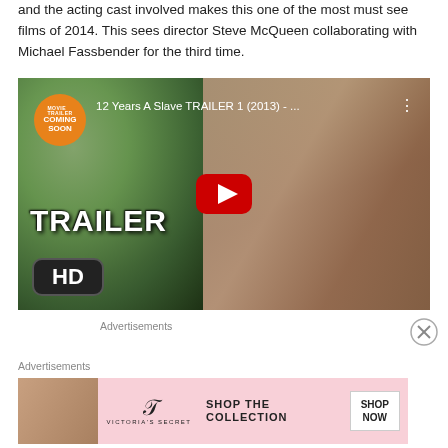and the acting cast involved makes this one of the most must see films of 2014. This sees director Steve McQueen collaborating with Michael Fassbender for the third time.
[Figure (screenshot): YouTube video thumbnail for '12 Years A Slave TRAILER 1 (2013)' showing a bearded man with long hair in a white shirt, overlaid with a red YouTube play button. 'TRAILER' text in white and 'HD' badge in bottom left. 'COMING SOON' orange badge in top left.]
Advertisements
Advertisements
[Figure (screenshot): Victoria's Secret advertisement banner with model, VS logo, 'SHOP THE COLLECTION' text, and 'SHOP NOW' button on pink background.]